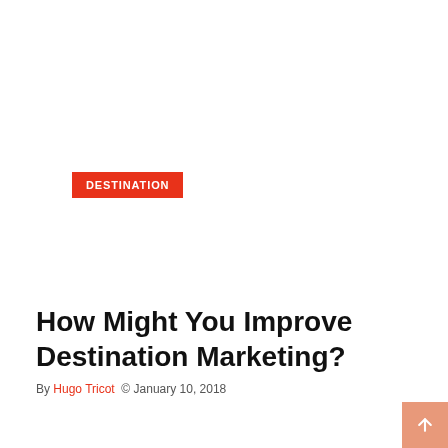DESTINATION
How Might You Improve Destination Marketing?
By [author link] © January 10, 2018